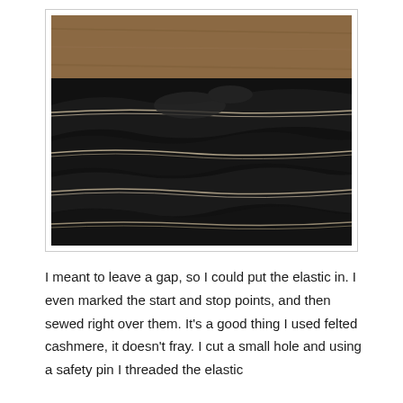[Figure (photo): Close-up photograph of dark navy/black felted cashmere fabric with thin metallic or cream-colored stripes running horizontally across rumpled textile, placed on a wooden surface background.]
I meant to leave a gap, so I could put the elastic in. I even marked the start and stop points, and then sewed right over them. It's a good thing I used felted cashmere, it doesn't fray. I cut a small hole and using a safety pin I threaded the elastic